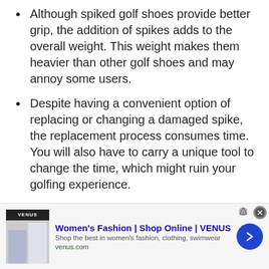Although spiked golf shoes provide better grip, the addition of spikes adds to the overall weight. This weight makes them heavier than other golf shoes and may annoy some users.
Despite having a convenient option of replacing or changing a damaged spike, the replacement process consumes time. You will also have to carry a unique tool to change the time, which might ruin your golfing experience.
Spikes attract a lot of debris and dirt and will often require frequent cleaning. It also
[Figure (other): Advertisement banner for Women's Fashion | Shop Online | VENUS at venus.com. Shows VENUS logo image on the left, ad text in the middle, and a blue circular arrow button on the right. Close button (X) in top right corner.]